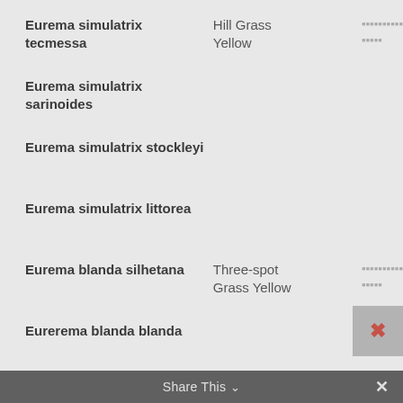Eurema simulatrix tecmessa | Hill Grass Yellow
Eurema simulatrix sarinoides
Eurema simulatrix stockleyi
Eurema simulatrix littorea
Eurema blanda silhetana | Three-spot Grass Yellow
Eurerema blanda blanda
Eurema sari sodalis | Chocolate Grass Yellow
Share This